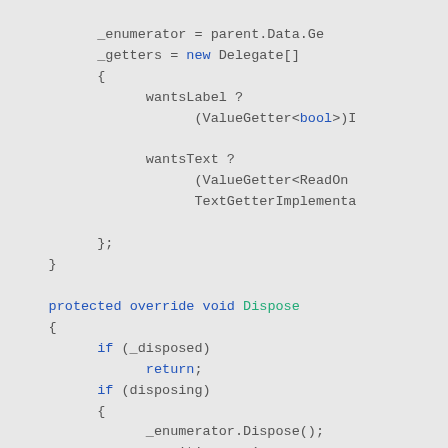[Figure (screenshot): Source code screenshot showing C# code with syntax highlighting. Contains code for _enumerator, _getters = new Delegate[], wantsLabel ternary, wantsText ternary with ValueGetter and TextGetterImplementa, closing braces, protected override void Dispose method with if (_disposed) return, if (disposing) block with _enumerator.Dispose(), _position = -1, closing brace, _disposed = true, and partial base.Dispose(disposing) line.]